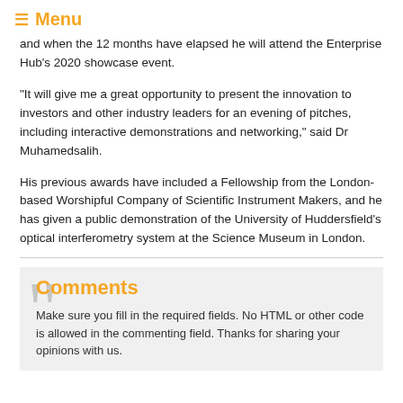☰ Menu
and when the 12 months have elapsed he will attend the Enterprise Hub's 2020 showcase event.
"It will give me a great opportunity to present the innovation to investors and other industry leaders for an evening of pitches, including interactive demonstrations and networking," said Dr Muhamedsalih.
His previous awards have included a Fellowship from the London-based Worshipful Company of Scientific Instrument Makers, and he has given a public demonstration of the University of Huddersfield's optical interferometry system at the Science Museum in London.
Comments
Make sure you fill in the required fields. No HTML or other code is allowed in the commenting field. Thanks for sharing your opinions with us.